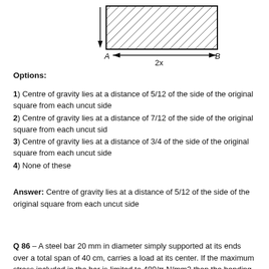[Figure (engineering-diagram): A rectangular cross-section shown with diagonal hatching, with point A at the bottom-left and B at the bottom-right, a downward arrow on the left side, and a horizontal dimension arrow labeled '2x' from A to B.]
Options:
1) Centre of gravity lies at a distance of 5/12 of the side of the original square from each uncut side
2) Centre of gravity lies at a distance of 7/12 of the side of the original square from each uncut sid
3) Centre of gravity lies at a distance of 3/4 of the side of the original square from each uncut side
4) None of these
Answer: Centre of gravity lies at a distance of 5/12 of the side of the original square from each uncut side
Q 86 – A steel bar 20 mm in diameter simply supported at its ends over a total span of 40 cm, carries a load at its center. If the maximum stress included in the bar is limited to 480/π N/mm2 then the bending strain energy stored in the bar is